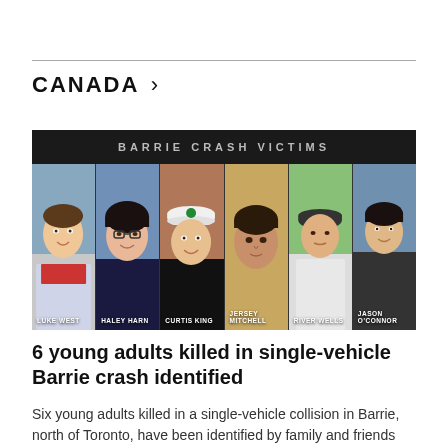CANADA >
[Figure (photo): Composite image labeled BARRIE CRASH VICTIMS showing six portrait photos of young adults: Luke West, Haley Harn, Curtis King, Jersey Mitchell, River Wells, Jason O'Connor]
6 young adults killed in single-vehicle Barrie crash identified
Six young adults killed in a single-vehicle collision in Barrie, north of Toronto, have been identified by family and friends